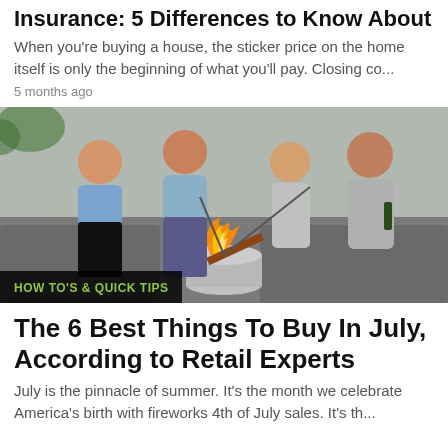Insurance: 5 Differences to Know About
When you're buying a house, the sticker price on the home itself is only the beginning of what you'll pay. Closing co...
5 months ago
[Figure (photo): Four people sitting outdoors around a fire pit, roasting marshmallows and socializing with drinks. The scene is an outdoor patio setting.]
HOW TO'S & QUICK TIPS
The 6 Best Things To Buy In July, According to Retail Experts
July is the pinnacle of summer. It's the month we celebrate America's birth with fireworks 4th of July sales. It's th...